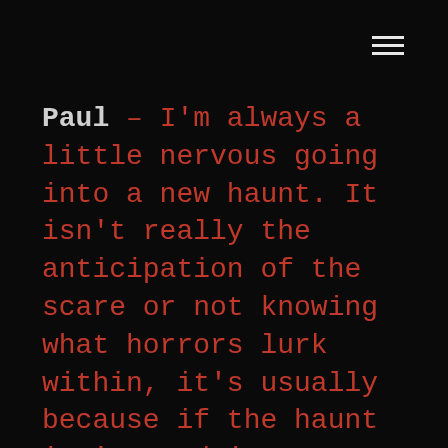≡
Paul – I'm always a little nervous going into a new haunt. It isn't really the anticipation of the scare or not knowing what horrors lurk within, it's usually because if the haunt isn't good it means I'm going to have to disappoint the owner with a harsh review of what could be improved. Malice Manor is a brand new attraction in 2019 so I had my doubts walking in their front door. Luckily there were no doubts left by the time I walked out!
Malice Manor (MM) has been in the minds of the creators for many years, and this year they were finally able to unveil it for the world to see. It's a haunt without a theme, just built